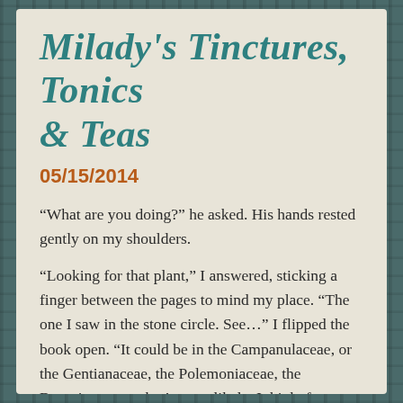Milady's Tinctures, Tonics & Teas
05/15/2014
“What are you doing?” he asked. His hands rested gently on my shoulders.
“Looking for that plant,” I answered, sticking a finger between the pages to mind my place. “The one I saw in the stone circle. See…” I flipped the book open. “It could be in the Campanulaceae, or the Gentianaceae, the Polemoniaceae, the Boraginaceae—that’s most likely, I think, forget-me-nots—but it could even be a variant of this one, the Anemone patens.” I pointed out a full color illustration of a pasqueflower. “I don’t think